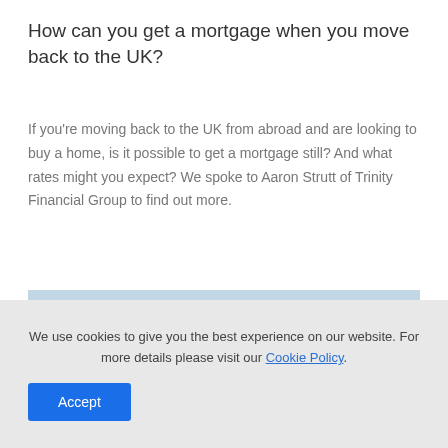How can you get a mortgage when you move back to the UK?
If you're moving back to the UK from abroad and are looking to buy a home, is it possible to get a mortgage still? And what rates might you expect? We spoke to Aaron Strutt of Trinity Financial Group to find out more.
[Figure (photo): Aerial/elevated photograph of a UK countryside and town landscape showing green fields, hills with trees, and a residential area with houses and street lights in the foreground under a light blue sky.]
We use cookies to give you the best experience on our website. For more details please visit our Cookie Policy.